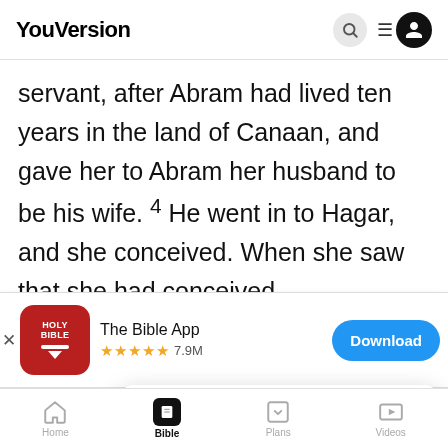YouVersion
servant, after Abram had lived ten years in the land of Canaan, and gave her to Abram her husband to be his wife. 4 He went in to Hagar, and she conceived. When she saw that she had conceived,
[Figure (screenshot): App download banner for The Bible App showing Holy Bible icon, 5-star rating 7.9M reviews, and Download button]
nt into your bosom. and when she saw
she had
judge b
YouVersion uses cookies to personalize your experience. By using our website, you accept our use of cookies as described in our Privacy Policy.
Home  Bible  Plans  Videos